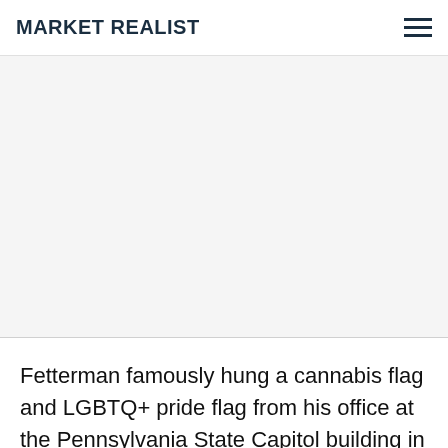MARKET REALIST
[Figure (other): Large advertisement or blank image placeholder area]
Fetterman famously hung a cannabis flag and LGBTQ+ pride flag from his office at the Pennsylvania State Capitol building in Harrisburg, and, despite being asked to